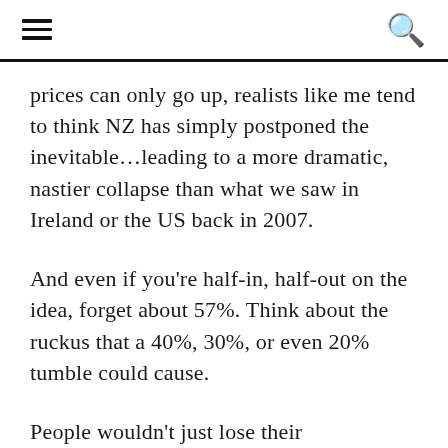prices can only go up, realists like me tend to think NZ has simply postponed the inevitable…leading to a more dramatic, nastier collapse than what we saw in Ireland or the US back in 2007.
And even if you’re half-in, half-out on the idea, forget about 57%. Think about the ruckus that a 40%, 30%, or even 20% tumble could cause.
People wouldn’t just lose their